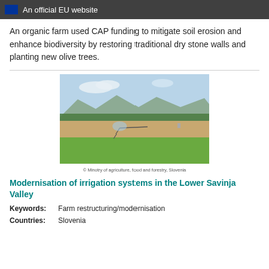An official EU website
An organic farm used CAP funding to mitigate soil erosion and enhance biodiversity by restoring traditional dry stone walls and planting new olive trees.
[Figure (photo): Agricultural field with irrigation sprinkler system running, green meadow in foreground, mountains and trees in background, Slovenia.]
© Minotry of agriculture, food and forestry, Slovenia
Modernisation of irrigation systems in the Lower Savinja Valley
Keywords: Farm restructuring/modernisation
Countries: Slovenia